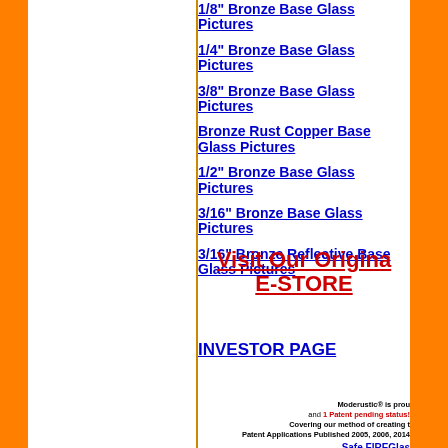1/8" Bronze Base Glass Pictures
1/4" Bronze Base Glass Pictures
3/8" Bronze Base Glass Pictures
Bronze Rust Copper Base Glass Pictures
1/2" Bronze Base Glass Pictures
3/16" Bronze Base Glass Pictures
3/16" Bronze Reflective Base Glass Pictures
Visit Our Original E-STORE
INVESTOR PAGE
Moderustic® is proud and 1 Patent pending status! Covering our method of creating t... Patent Applications Published 2005, 2006, 2014... Safe FIREGlas...